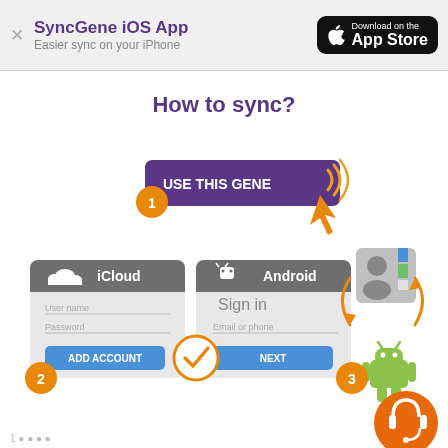SyncGene iOS App
Easier sync on your iPhone
How to sync?
[Figure (infographic): Step-by-step sync instructions infographic. Step 1: orange circle labeled '1' with purple button 'USE THIS GENE' and an orange cursor pointer. Step 2: orange circle labeled '2' with iCloud and Android login screens side by side and a checkmark. Step 3: orange circle labeled '3' with contact icon, Android robot icon, and sync arrows between them. Bottom right: orange circle with headset support icon.]